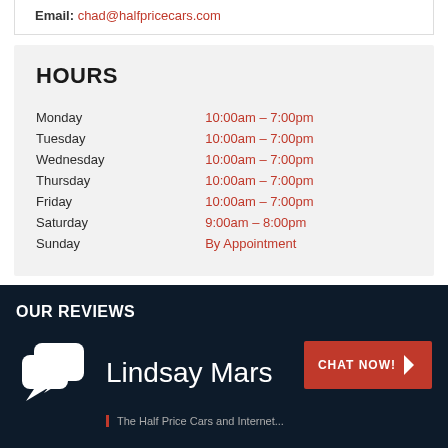Email: chad@halfpricecars.com
HOURS
| Day | Hours |
| --- | --- |
| Monday | 10:00am – 7:00pm |
| Tuesday | 10:00am – 7:00pm |
| Wednesday | 10:00am – 7:00pm |
| Thursday | 10:00am – 7:00pm |
| Friday | 10:00am – 7:00pm |
| Saturday | 9:00am – 8:00pm |
| Sunday | By Appointment |
OUR REVIEWS
Lindsay Mars
The Half Price Cars and Internet...